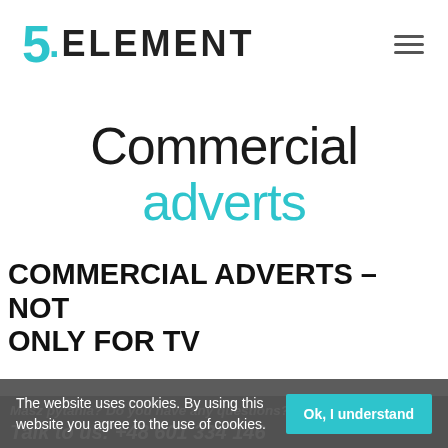[Figure (logo): 5.ELEMENT company logo with cyan/teal colored '5.' and dark uppercase 'ELEMENT' text]
Commercial adverts
COMMERCIAL ADVERTS – NOT ONLY FOR TV
Masz pytania? Do you have any questions? Talk to us: +48 601 334 146
The website uses cookies. By using this website you agree to the use of cookies.